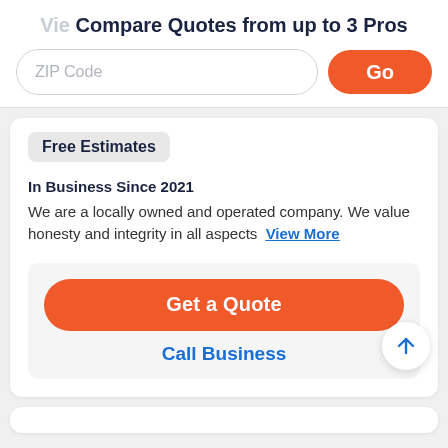Compare Quotes from up to 3 Pros
ZIP Code
Go
Free Estimates
In Business Since 2021
We are a locally owned and operated company. We value honesty and integrity in all aspects View More
Get a Quote
Call Business